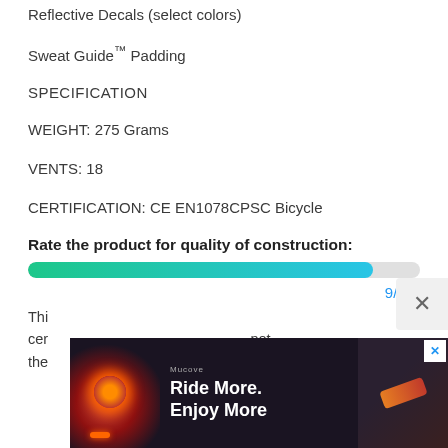Reflective Decals (select colors)
Sweat Guide™ Padding
SPECIFICATION
WEIGHT: 275 Grams
VENTS: 18
CERTIFICATION: CE EN1078CPSC Bicycle
Rate the product for quality of construction:
[Figure (other): Horizontal progress bar (gradient from teal/green to blue) showing a rating score roughly 9/10]
9/10
This helmet is directly inline... certification ... not the
[Figure (photo): Advertisement banner showing 'Ride More. Enjoy More' with a bicycle light image on dark background, with an X close button]